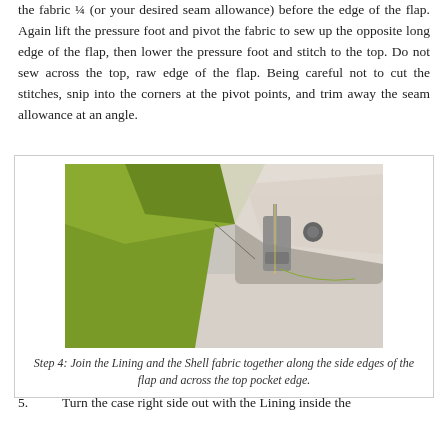the fabric ¼ (or your desired seam allowance) before the edge of the flap. Again lift the pressure foot and pivot the fabric to sew up the opposite long edge of the flap, then lower the pressure foot and stitch to the top. Do not sew across the top, raw edge of the flap. Being careful not to cut the stitches, snip into the corners at the pivot points, and trim away the seam allowance at an angle.
[Figure (photo): Close-up photograph of green fabric being sewn on a sewing machine, showing the presser foot and needle area with light-colored lining fabric visible.]
Step 4: Join the Lining and the Shell fabric together along the side edges of the flap and across the top pocket edge.
5.     Turn the case right side out with the Lining inside the